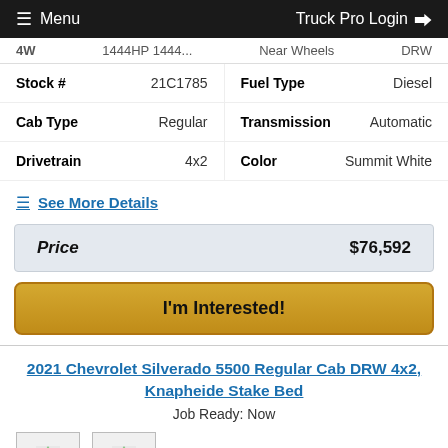≡ Menu   Truck Pro Login →
4W   1444HP 1444-   Near Wheels   DRW
| Field | Value | Field | Value |
| --- | --- | --- | --- |
| Stock # | 21C1785 | Fuel Type | Diesel |
| Cab Type | Regular | Transmission | Automatic |
| Drivetrain | 4x2 | Color | Summit White |
≡ See More Details
Price   $76,592
I'm Interested!
2021 Chevrolet Silverado 5500 Regular Cab DRW 4x2, Knapheide Stake Bed
Job Ready: Now
[Figure (photo): Two vehicle thumbnail images placeholder]